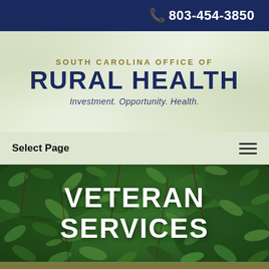803-454-3850
SOUTH CAROLINA OFFICE OF RURAL HEALTH
Investment. Opportunity. Health.
Select Page
[Figure (photo): Close-up photograph of dense green leaves forming a natural background, dark rich green tones with visible leaf veins and stems]
VETERAN SERVICES